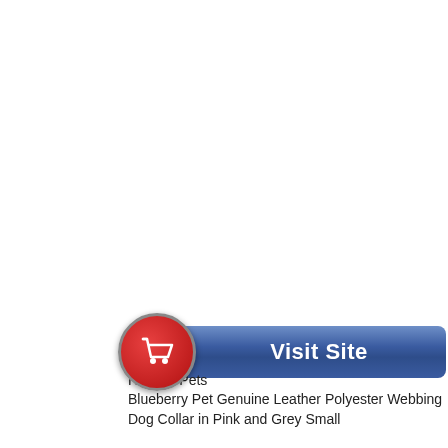[Figure (other): A 'Visit Site' button with a red shopping cart icon circle on the left and a blue pill-shaped button with white bold text 'Visit Site']
$34.15
Healthy Pets
Blueberry Pet Genuine Leather Polyester Webbing Dog Collar in Pink and Grey Small